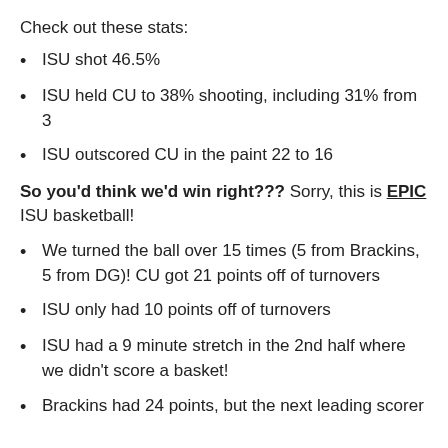Check out these stats:
ISU shot 46.5%
ISU held CU to 38% shooting, including 31% from 3
ISU outscored CU in the paint 22 to 16
So you'd think we'd win right??? Sorry, this is EPIC ISU basketball!
We turned the ball over 15 times (5 from Brackins, 5 from DG)! CU got 21 points off of turnovers
ISU only had 10 points off of turnovers
ISU had a 9 minute stretch in the 2nd half where we didn't score a basket!
Brackins had 24 points, but the next leading scorer